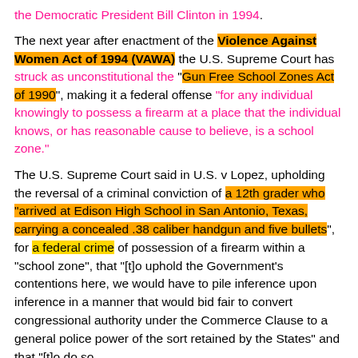the Democratic President Bill Clinton in 1994.
The next year after enactment of the Violence Against Women Act of 1994 (VAWA) the U.S. Supreme Court has struck as unconstitutional the "Gun Free School Zones Act of 1990", making it a federal offense "for any individual knowingly to possess a firearm at a place that the individual knows, or has reasonable cause to believe, is a school zone."
The U.S. Supreme Court said in U.S. v Lopez, upholding the reversal of a criminal conviction of a 12th grader who "arrived at Edison High School in San Antonio, Texas, carrying a concealed .38 caliber handgun and five bullets", for a federal crime of possession of a firearm within a "school zone", that "[t]o uphold the Government's contentions here, we would have to pile inference upon inference in a manner that would bid fair to convert congressional authority under the Commerce Clause to a general police power of the sort retained by the States" and that "[t]o do so